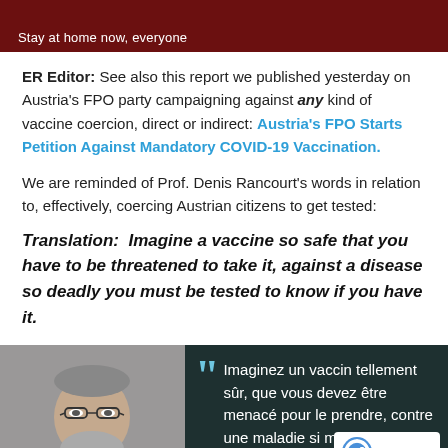[Figure (photo): Dark red banner image with text 'Stay at home now, everyone' in white]
ER Editor: See also this report we published yesterday on Austria's FPO party campaigning against any kind of vaccine coercion, direct or indirect: Austria's FPO Starts Petition Against Mandatory COVID-19 Vaccination.
We are reminded of Prof. Denis Rancourt's words in relation to, effectively, coercing Austrian citizens to get tested:
Translation:  Imagine a vaccine so safe that you have to be threatened to take it, against a disease so deadly you must be tested to know if you have it.
[Figure (photo): Photo of a man (Prof. Denis Rancourt) on left, dark teal background on right with French quote text: 'Imaginez un vaccin tellement sûr, que vous devez être menacé pour le prendre, contre une maladie si mo... que vous devez être testé']